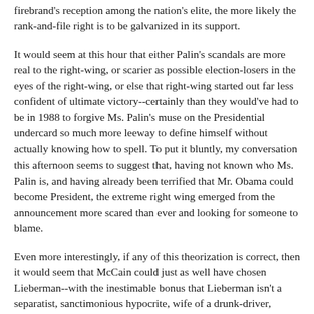firebrand's reception among the nation's elite, the more likely the rank-and-file right is to be galvanized in its support.
It would seem at this hour that either Palin's scandals are more real to the right-wing, or scarier as possible election-losers in the eyes of the right-wing, or else that right-wing started out far less confident of ultimate victory--certainly than they would've had to be in 1988 to forgive Ms. Palin's muse on the Presidential undercard so much more leeway to define himself without actually knowing how to spell. To put it bluntly, my conversation this afternoon seems to suggest that, having not known who Ms. Palin is, and having already been terrified that Mr. Obama could become President, the extreme right wing emerged from the announcement more scared than ever and looking for someone to blame.
Even more interestingly, if any of this theorization is correct, then it would seem that McCain could just as well have chosen Lieberman--with the inestimable bonus that Lieberman isn't a separatist, sanctimonious hypocrite, wife of a drunk-driver, documented power-abuser, and mother of an unwed pregnant teen.